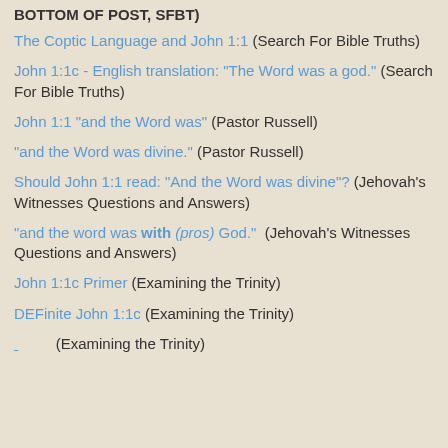BOTTOM OF POST, SFBT)
The Coptic Language and John 1:1 (Search For Bible Truths)
John 1:1c - English translation: "The Word was a god." (Search For Bible Truths)
John 1:1 "and the Word was" (Pastor Russell)
"and the Word was divine." (Pastor Russell)
Should John 1:1 read: "And the Word was divine"? (Jehovah's Witnesses Questions and Answers)
"and the word was with (pros) God." (Jehovah's Witnesses Questions and Answers)
John 1:1c Primer (Examining the Trinity)
DEFinite John 1:1c (Examining the Trinity)
... (Examining the Trinity)